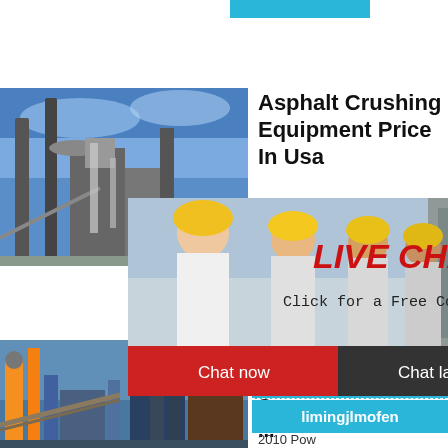[Figure (photo): Cyan/teal decorative bar at top of page, partially visible]
[Figure (photo): Industrial plant / asphalt crushing equipment facility photo on left side]
Asphalt Crushing Equipment Price In Usa
fines. The
hour online
[Figure (photo): Live Chat overlay popup showing workers in yellow hard hats, with 'LIVE CHAT' in red italic, 'Click for a Free Consultation' text, and Chat now / Chat later buttons]
[Figure (photo): Crusher machine image on right sidebar over blue background]
Click me to chat>>
Enquiry
limingjlmofen
[Figure (photo): Industrial plant with blue steel structures and conveyor belts, bottom left]
Used T Crushe Sermac ...
2010 Pow